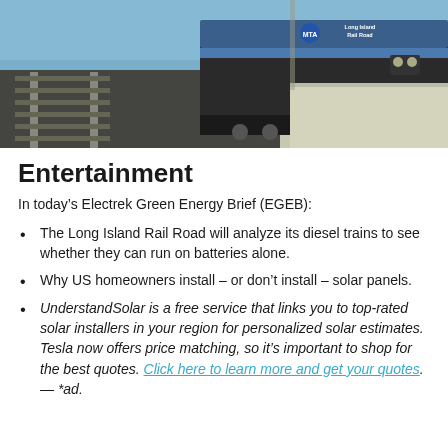[Figure (photo): Photograph of a Long Island Rail Road locomotive at a station platform, showing the blue train with 'Long Island Rail Road' text visible on the front, with tracks and platform in the foreground.]
Entertainment
In today’s Electrek Green Energy Brief (EGEB):
The Long Island Rail Road will analyze its diesel trains to see whether they can run on batteries alone.
Why US homeowners install – or don’t install – solar panels.
UnderstandSolar is a free service that links you to top-rated solar installers in your region for personalized solar estimates. Tesla now offers price matching, so it’s important to shop for the best quotes. Click here to learn more and get your quotes. — *ad.